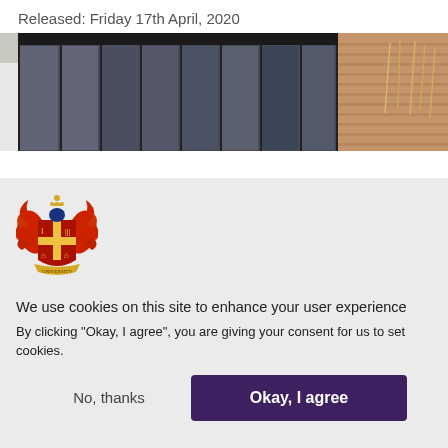Released: Friday 17th April, 2020
[Figure (photo): Exterior photograph of a modern building with large glass window panels and a brick wall section on the right side.]
[Figure (logo): Coat of arms / heraldic crest with red and gold coloring, featuring shield with cross, two red eagles/phoenixes on sides, and a banner at the bottom.]
We use cookies on this site to enhance your user experience
By clicking "Okay, I agree", you are giving your consent for us to set cookies.
No, thanks
Okay, I agree